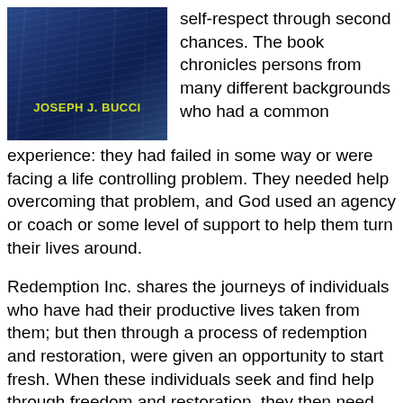[Figure (photo): Book cover with dark blue background and author name 'JOSEPH J. BUCCI' in yellow-green text]
self-respect through second chances. The book chronicles persons from many different backgrounds who had a common experience: they had failed in some way or were facing a life controlling problem. They needed help overcoming that problem, and God used an agency or coach or some level of support to help them turn their lives around.
Redemption Inc. shares the journeys of individuals who have had their productive lives taken from them; but then through a process of redemption and restoration, were given an opportunity to start fresh. When these individuals seek and find help through freedom and restoration, they then need the possibility for re-employment and a fresh start. This is an opportunity for businesses to complete the cycle by providing